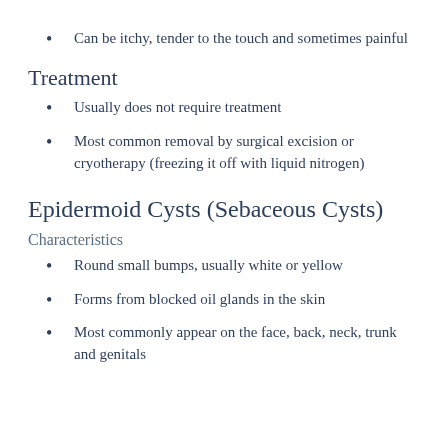Can be itchy, tender to the touch and sometimes painful
Treatment
Usually does not require treatment
Most common removal by surgical excision or cryotherapy (freezing it off with liquid nitrogen)
Epidermoid Cysts (Sebaceous Cysts)
Characteristics
Round small bumps, usually white or yellow
Forms from blocked oil glands in the skin
Most commonly appear on the face, back, neck, trunk and genitals